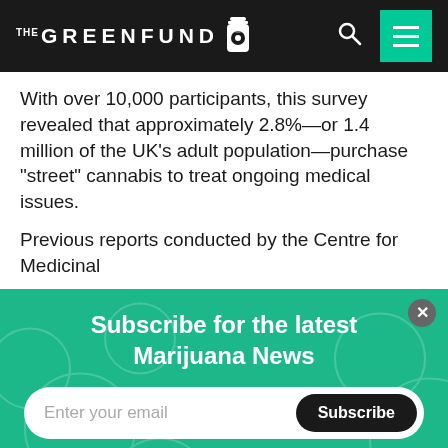THE GREENFUND
With over 10,000 participants, this survey revealed that approximately 2.8%—or 1.4 million of the UK's adult population—purchase "street" cannabis to treat ongoing medical issues.
Previous reports conducted by the Centre for Medicinal
Subscribe for the latest Marijuana News
Enter your email
Subscribe
Become a Patron below and support us in covering the latest marijuana news!
Become a patron